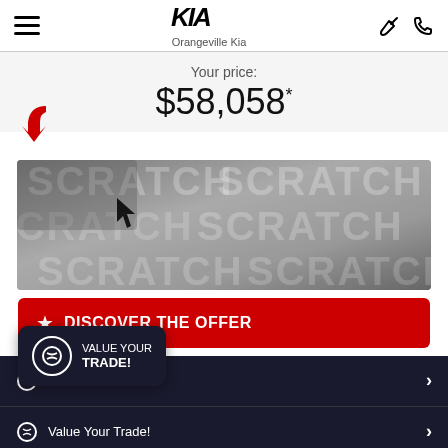Orangeville Kia
Your price:
$58,058*
[Figure (illustration): Scratch-and-reveal card surface with repeating 'SCRATCH' text pattern in grey tones, with a mouse cursor visible]
DISCOVER THE OFFER
offers!
VALUE YOUR TRADE!
Value Your Trade!